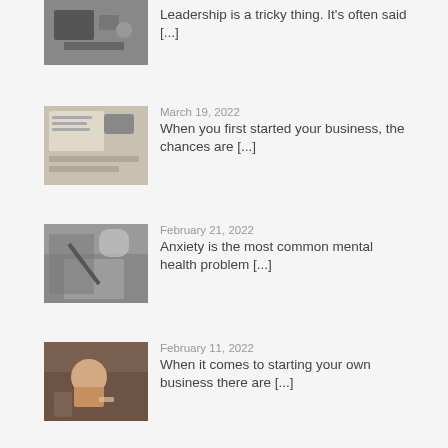[Figure (photo): Person sitting at desk working, dark tones]
Leadership is a tricky thing. It's often said [...]
[Figure (photo): Notebook, phone and papers on desk]
March 19, 2022
When you first started your business, the chances are [...]
[Figure (photo): Hand writing with pen, coffee cup in background]
February 21, 2022
Anxiety is the most common mental health problem [...]
[Figure (photo): Woman on phone smiling, cafe setting]
February 11, 2022
When it comes to starting your own business there are [...]